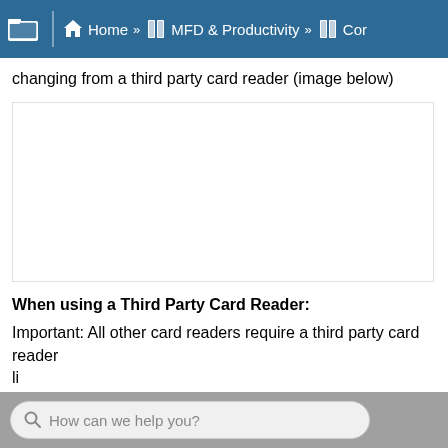Home » MFD & Productivity » Cor
changing from a third party card reader (image below)
[Figure (other): Blank white image area showing a card reader image placeholder]
When using a Third Party Card Reader:
Important: All other card readers require a third party card reader li... (truncated)